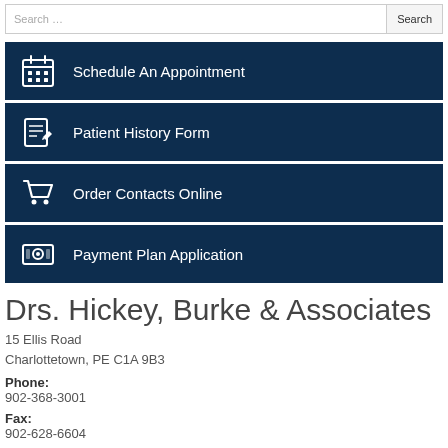Search ... Search
Schedule An Appointment
Patient History Form
Order Contacts Online
Payment Plan Application
Drs. Hickey, Burke & Associates
15 Ellis Road
Charlottetown, PE C1A 9B3
Phone:
902-368-3001
Fax:
902-628-6604